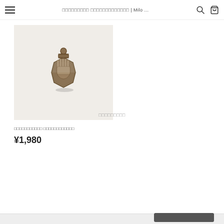□□□□□□□□□ □□□□□□□□□□□□□ | Milo ...
[Figure (photo): Bronze antique-style hand doorknocker pendant/charm on a light background]
□□□□□□□□□□□ □□□□□□□□□□□□
¥1,980
□□□□□□□□□